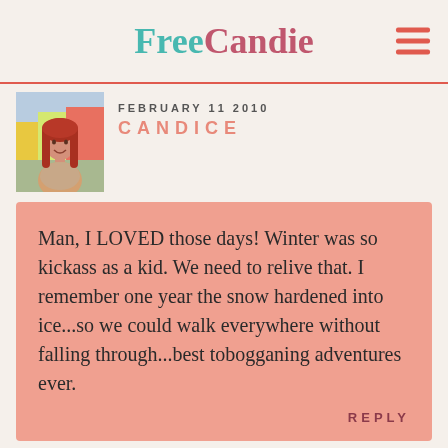FreeCandie
FEBRUARY 11 2010
CANDICE
[Figure (photo): Profile photo of a young woman with long red hair, smiling, outdoors with colorful buildings in background]
Man, I LOVED those days! Winter was so kickass as a kid. We need to relive that. I remember one year the snow hardened into ice...so we could walk everywhere without falling through...best tobogganing adventures ever.
REPLY